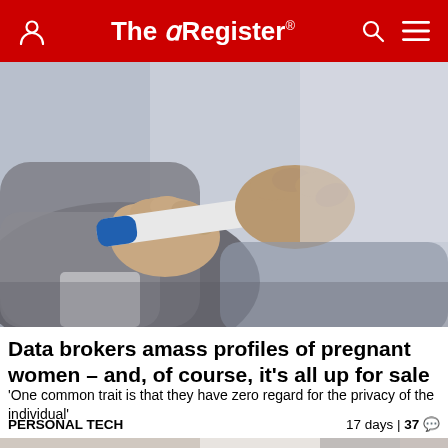The Register
[Figure (photo): Close-up photo of two hands holding a pregnancy test stick, person wearing a grey long-sleeve top, light blurred background]
Data brokers amass profiles of pregnant women – and, of course, it's all up for sale
'One common trait is that they have zero regard for the privacy of the individual'
PERSONAL TECH   17 days | 37
[Figure (photo): Partial image showing a person's face with red sunglasses on the left and a sign reading SECURITY BREACH on the right with a bar chart, partially cut off at bottom of page]